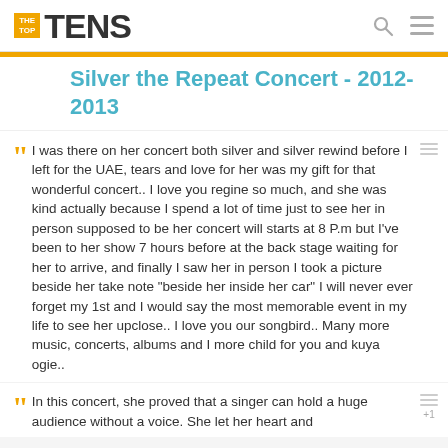THE TOP TENS
Silver the Repeat Concert - 2012-2013
I was there on her concert both silver and silver rewind before I left for the UAE, tears and love for her was my gift for that wonderful concert.. I love you regine so much, and she was kind actually because I spend a lot of time just to see her in person supposed to be her concert will starts at 8 P.m but I've been to her show 7 hours before at the back stage waiting for her to arrive, and finally I saw her in person I took a picture beside her take note "beside her inside her car" I will never ever forget my 1st and I would say the most memorable event in my life to see her upclose.. I love you our songbird.. Many more music, concerts, albums and I more child for you and kuya ogie..
In this concert, she proved that a singer can hold a huge audience without a voice. She let her heart and